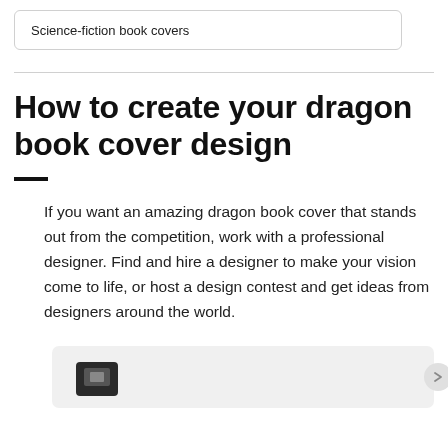Science-fiction book covers
How to create your dragon book cover design
If you want an amazing dragon book cover that stands out from the competition, work with a professional designer. Find and hire a designer to make your vision come to life, or host a design contest and get ideas from designers around the world.
[Figure (other): Partial image/icon at the bottom of the page, showing a dark square icon partially visible inside a light grey rounded rectangle card]